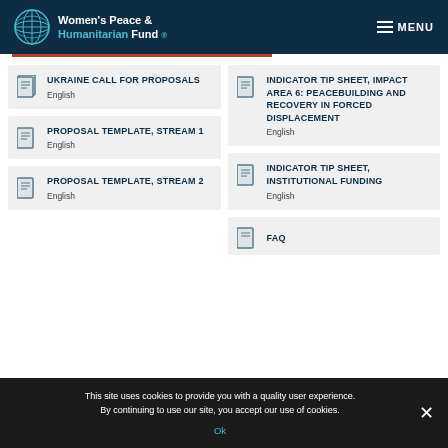Women's Peace & Humanitarian Fund — MENU
UKRAINE CALL FOR PROPOSALS
English
INDICATOR TIP SHEET, IMPACT AREA 6: PEACEBUILDING AND RECOVERY IN FORCED DISPLACEMENT
English
PROPOSAL TEMPLATE, STREAM 1
English
INDICATOR TIP SHEET, INSTITUTIONAL FUNDING
English
PROPOSAL TEMPLATE, STREAM 2
English
FAQ
This site uses cookies to provide you with a quality user experience. By continuing to use our site, you accept our use of cookies.
Ok